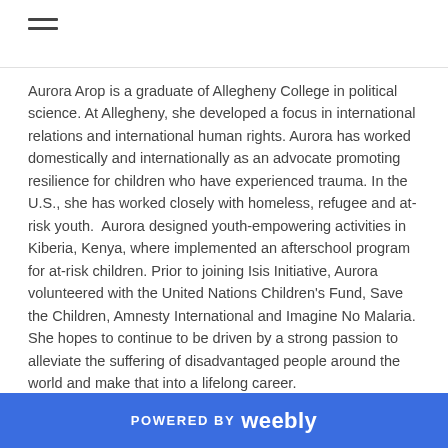≡
Aurora Arop is a graduate of Allegheny College in political science. At Allegheny, she developed a focus in international relations and international human rights. Aurora has worked domestically and internationally as an advocate promoting resilience for children who have experienced trauma. In the U.S., she has worked closely with homeless, refugee and at-risk youth.  Aurora designed youth-empowering activities in Kiberia, Kenya, where implemented an afterschool program for at-risk children. Prior to joining Isis Initiative, Aurora volunteered with the United Nations Children's Fund, Save the Children, Amnesty International and Imagine No Malaria. She hopes to continue to be driven by a strong passion to alleviate the suffering of disadvantaged people around the world and make that into a lifelong career.
POWERED BY weebly